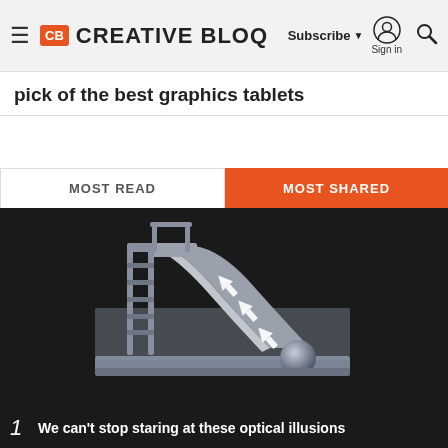CB CREATIVE BLOQ | Subscribe | Sign in
pick of the best graphics tablets
MOST READ | MOST SHARED
[Figure (illustration): 3D rendered image of a playground slide on a dark background, with white arrows on the slide surface pointing upward, and a metallic ball at the bottom of the slide]
1  We can't stop staring at these optical illusions